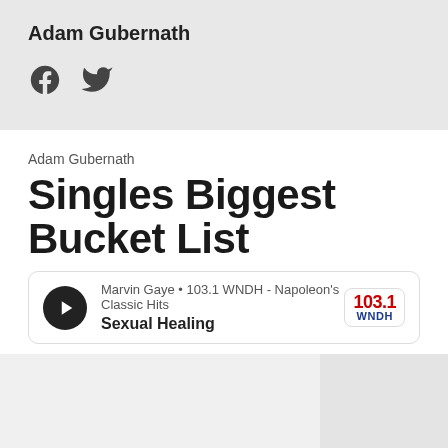Adam Gubernath
[Figure (infographic): Facebook and Twitter social media icons]
Adam Gubernath
Singles Biggest Bucket List
[Figure (infographic): Radio player widget: Marvin Gaye • 103.1 WNDH - Napoleon's Classic Hits, Sexual Healing, with play button and 103.1 WNDH logo]
[Figure (photo): Two image placeholders side by side]